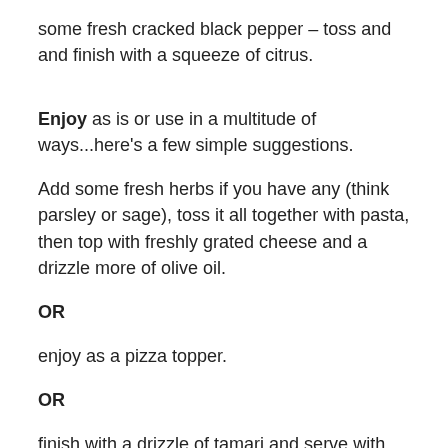some fresh cracked black pepper – toss and and finish with a squeeze of citrus.
Enjoy as is or use in a multitude of ways...here's a few simple suggestions.
Add some fresh herbs if you have any (think parsley or sage), toss it all together with pasta, then top with freshly grated cheese and a drizzle more of olive oil.
OR
enjoy as a pizza topper.
OR
finish with a drizzle of tamari and serve with jasmine rice.